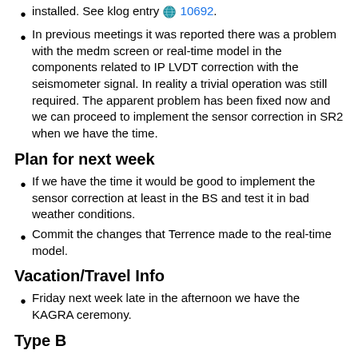installed. See klog entry 🌐 10692.
In previous meetings it was reported there was a problem with the medm screen or real-time model in the components related to IP LVDT correction with the seismometer signal. In reality a trivial operation was still required. The apparent problem has been fixed now and we can proceed to implement the sensor correction in SR2 when we have the time.
Plan for next week
If we have the time it would be good to implement the sensor correction at least in the BS and test it in bad weather conditions.
Commit the changes that Terrence made to the real-time model.
Vacation/Travel Info
Friday next week late in the afternoon we have the KAGRA ceremony.
Type B